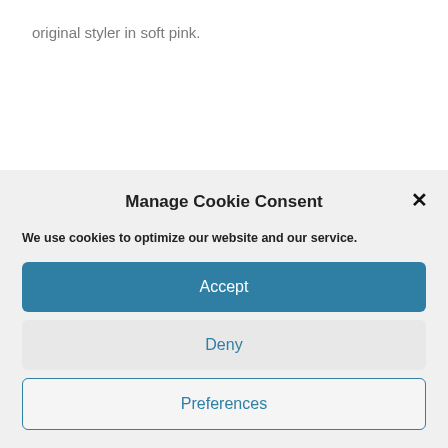original styler in soft pink.
[Figure (screenshot): Cookie consent modal dialog with title 'Manage Cookie Consent', a close (X) button, description text, and three buttons: Accept, Deny, Preferences.]
Manage Cookie Consent
We use cookies to optimize our website and our service.
Accept
Deny
Preferences